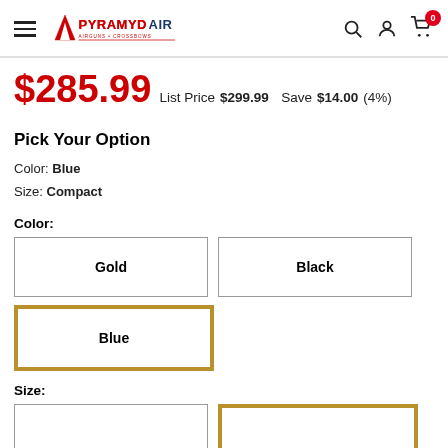Pyramyd Air — Airguns + Crossbows
$285.99  List Price $299.99  Save $14.00(4%)
Pick Your Option
Color: Blue
Size: Compact
Color:
Gold | Black | Blue
Size: